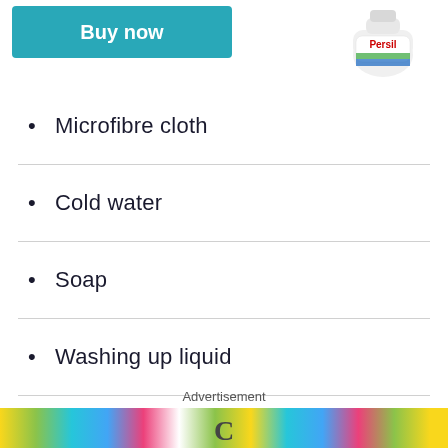[Figure (other): Buy now button (teal/blue-green) and Persil product bottle image at top of page]
Microfibre cloth
Cold water
Soap
Washing up liquid
Laundry detergent
Advertisement
[Figure (photo): Advertisement image strip at bottom of page showing colorful cleaning products]